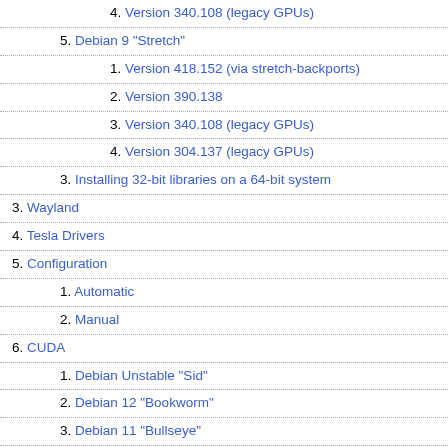4. Version 340.108 (legacy GPUs)
5. Debian 9 "Stretch"
1. Version 418.152 (via stretch-backports)
2. Version 390.138
3. Version 340.108 (legacy GPUs)
4. Version 304.137 (legacy GPUs)
3. Installing 32-bit libraries on a 64-bit system
3. Wayland
4. Tesla Drivers
5. Configuration
1. Automatic
2. Manual
6. CUDA
1. Debian Unstable "Sid"
2. Debian 12 "Bookworm"
3. Debian 11 "Bullseye"
4. Debian 10 "Buster"
5. Debian 9 "Stretch"
7. Troubleshooting